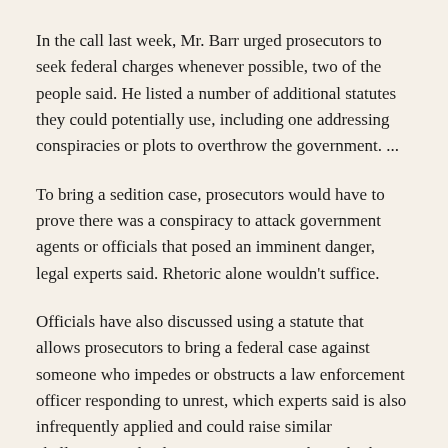In the call last week, Mr. Barr urged prosecutors to seek federal charges whenever possible, two of the people said. He listed a number of additional statutes they could potentially use, including one addressing conspiracies or plots to overthrow the government. ...
To bring a sedition case, prosecutors would have to prove there was a conspiracy to attack government agents or officials that posed an imminent danger, legal experts said. Rhetoric alone wouldn't suffice.
Officials have also discussed using a statute that allows prosecutors to bring a federal case against someone who impedes or obstructs a law enforcement officer responding to unrest, which experts said is also infrequently applied and could raise similar challenges. Federal prosecutors in June brought that charge against three people accused of throwing Molotov cocktails at New York City police vehicles during protests. ...
They may also think about how they could better charge